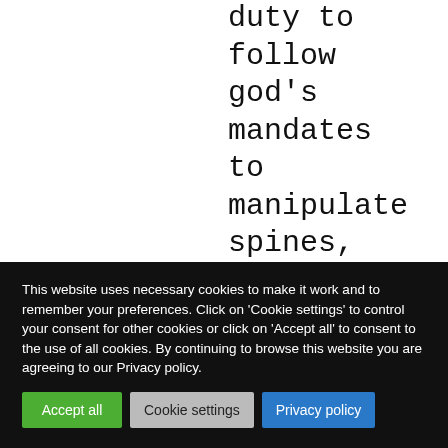duty to follow god's mandates to manipulate spines, even in children. The real bullseye, 125 years ago, was
This website uses necessary cookies to make it work and to remember your preferences. Click on 'Cookie settings' to control your consent for other cookies or click on 'Accept all' to consent to the use of all cookies. By continuing to browse this website you are agreeing to our Privacy policy.